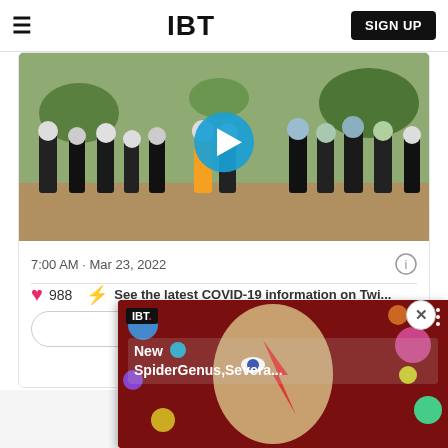IBT  SIGN UP
[Figure (screenshot): Video thumbnail showing women in black hijabs walking in an outdoor area, with a blue play button circle overlay in the center]
7:00 AM · Mar 23, 2022
988  See the latest COVID-19 information on Twi...
Read 73 M...
[Figure (screenshot): IBT popup video card with colorful background art showing a face with Ziggy Stardust makeup and colorful spheres, with text 'New SpiderGenus,Severa...']